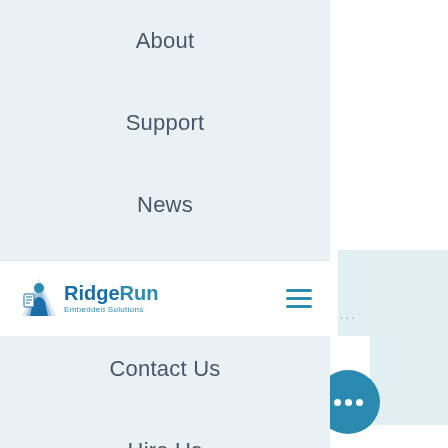About
Support
News
Careers
Contact Us
Hire Us
[Figure (logo): RidgeRun Embedded Solutions logo with mountain/person icon]
GStreamer plugin that performs a color transfer...